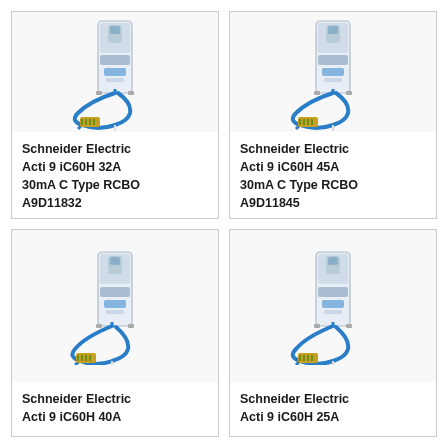[Figure (photo): Schneider Electric Acti 9 iC60H RCBO circuit breaker with blue loop cable and yellow/green terminal, white device body]
Schneider Electric Acti 9 iC60H 32A 30mA C Type RCBO A9D11832
[Figure (photo): Schneider Electric Acti 9 iC60H RCBO circuit breaker with blue loop cable and yellow/green terminal, white device body]
Schneider Electric Acti 9 iC60H 45A 30mA C Type RCBO A9D11845
[Figure (photo): Schneider Electric Acti 9 iC60H RCBO circuit breaker with blue loop cable and yellow/green terminal, white device body]
Schneider Electric Acti 9 iC60H 40A
[Figure (photo): Schneider Electric Acti 9 iC60H RCBO circuit breaker with blue loop cable and yellow/green terminal, white device body]
Schneider Electric Acti 9 iC60H 25A